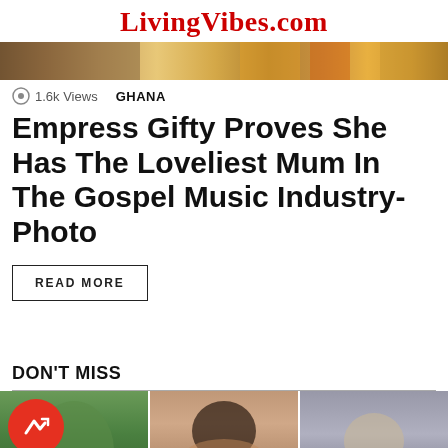LivingVibes.com
[Figure (photo): Colorful banner/thumbnail strip image]
1.6k Views   GHANA
Empress Gifty Proves She Has The Loveliest Mum In The Gospel Music Industry- Photo
READ MORE
DON'T MISS
[Figure (photo): Three panel photo strip with trending badge icon and scroll-up button]